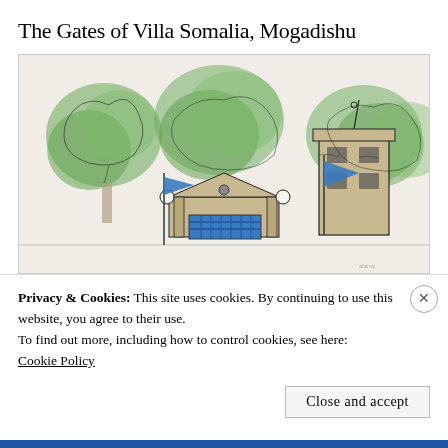The Gates of Villa Somalia, Mogadishu
[Figure (illustration): Architectural sketch/illustration of the gates of Villa Somalia in Mogadishu, showing decorative gate structure flanked by trees and a tower, with Somali flags in blue. Drawn in ink with watercolor-style green foliage.]
Privacy & Cookies: This site uses cookies. By continuing to use this website, you agree to their use.
To find out more, including how to control cookies, see here:
Cookie Policy
Close and accept